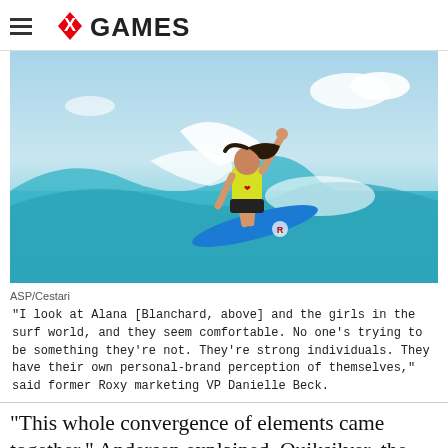X GAMES
[Figure (photo): Female surfer (Alana Blanchard) on a blue surfboard riding a wave, wearing a yellow and black Roxy top, arm raised, with white surf spray behind her. Blue sky in background.]
ASP/Cestari
"I look at Alana [Blanchard, above] and the girls in the surf world, and they seem comfortable. No one's trying to be something they're not. They're strong individuals. They have their own personal-brand perception of themselves," said former Roxy marketing VP Danielle Beck.
"This whole convergence of elements came together," Andersen explained. Quiksilver, the 45-year-old